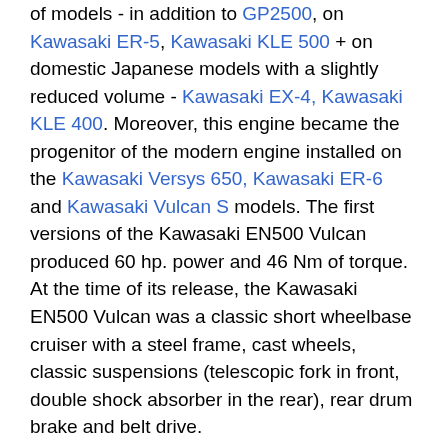of models - in addition to GP2500, on Kawasaki ER-5, Kawasaki KLE 500 + on domestic Japanese models with a slightly reduced volume - Kawasaki EX-4, Kawasaki KLE 400. Moreover, this engine became the progenitor of the modern engine installed on the Kawasaki Versys 650, Kawasaki ER-6 and Kawasaki Vulcan S models. The first versions of the Kawasaki EN500 Vulcan produced 60 hp. power and 46 Nm of torque. At the time of its release, the Kawasaki EN500 Vulcan was a classic short wheelbase cruiser with a steel frame, cast wheels, classic suspensions (telescopic fork in front, double shock absorber in the rear), rear drum brake and belt drive.
Major generations of the Kawasaki EN500 Vulcan:
Kawasaki EN500A Vulcan (1990-1996) - first generation. The model is distinguished by the classic appearance of the 80-90s, a forced engine, alloy wheels